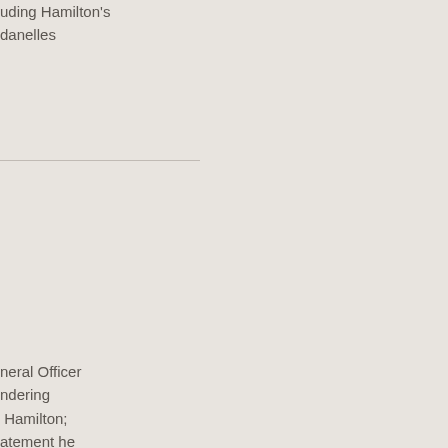uding Hamilton's
danelles
neral Officer
ndering
Hamilton;
atement he
nation required
sport of water on